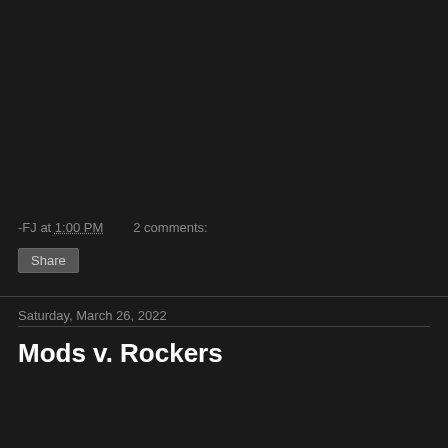-FJ at 1:00 PM    2 comments:
Share
Saturday, March 26, 2022
Mods v. Rockers